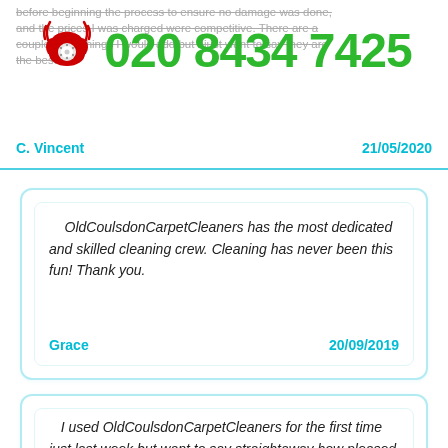before beginning the process to ensure no damage was done, and the prices I was charged were competitive. There are a couple more things I would add but I just want to say they are the best.
[Figure (logo): Red rotary telephone icon with ringing lines]
020 8434 7425
C. Vincent
21/05/2020
OldCoulsdonCarpetCleaners has the most dedicated and skilled cleaning crew. Cleaning has never been this fun! Thank you.
Grace
20/09/2019
I used OldCoulsdonCarpetCleaners for the first time just last week but want to say straightaway how pleased I was with the service I received. It means a lot that I can hire a cleaner for such a great price because I was finding it difficult